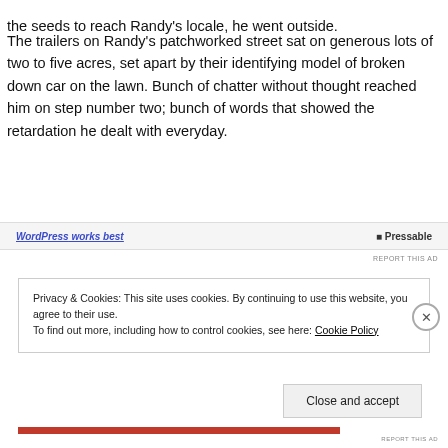the seeds to reach Randy's locale, he went outside.
The trailers on Randy's patchworked street sat on generous lots of two to five acres, set apart by their identifying model of broken down car on the lawn. Bunch of chatter without thought reached him on step number two; bunch of words that showed the retardation he dealt with everyday.
[Figure (other): WordPress works best / Pressable advertisement bar]
REPORT THIS AD
Privacy & Cookies: This site uses cookies. By continuing to use this website, you agree to their use.
To find out more, including how to control cookies, see here: Cookie Policy
Close and accept